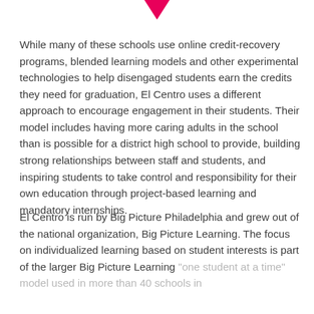[Figure (logo): Pink/magenta downward-pointing triangle arrow logo at the top center of the page]
While many of these schools use online credit-recovery programs, blended learning models and other experimental technologies to help disengaged students earn the credits they need for graduation, El Centro uses a different approach to encourage engagement in their students. Their model includes having more caring adults in the school than is possible for a district high school to provide, building strong relationships between staff and students, and inspiring students to take control and responsibility for their own education through project-based learning and mandatory internships.
El Centro is run by Big Picture Philadelphia and grew out of the national organization, Big Picture Learning. The focus on individualized learning based on student interests is part of the larger Big Picture Learning “one student at a time” model used in more than 40 schools in